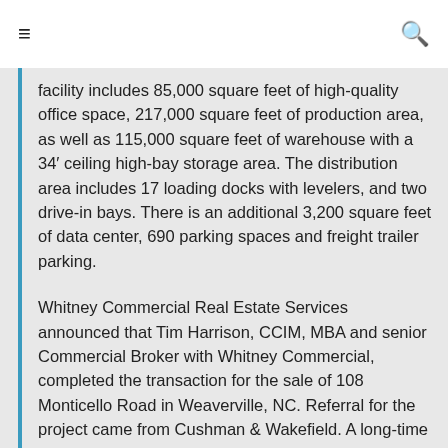≡  🔍
facility includes 85,000 square feet of high-quality office space, 217,000 square feet of production area, as well as 115,000 square feet of warehouse with a 34′ ceiling high-bay storage area. The distribution area includes 17 loading docks with levelers, and two drive-in bays. There is an additional 3,200 square feet of data center, 690 parking spaces and freight trailer parking.
Whitney Commercial Real Estate Services announced that Tim Harrison, CCIM, MBA and senior Commercial Broker with Whitney Commercial, completed the transaction for the sale of 108 Monticello Road in Weaverville, NC. Referral for the project came from Cushman & Wakefield. A long-time employer in the region, Arvato closed down production of their digital